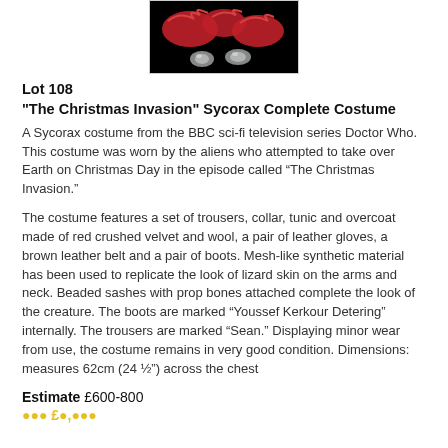[Figure (photo): Photo of the Sycorax costume pieces — red fabric and silver/grey bone-like props against a black background]
Lot 108
"The Christmas Invasion" Sycorax Complete Costume
A Sycorax costume from the BBC sci-fi television series Doctor Who. This costume was worn by the aliens who attempted to take over Earth on Christmas Day in the episode called “The Christmas Invasion.”
The costume features a set of trousers, collar, tunic and overcoat made of red crushed velvet and wool, a pair of leather gloves, a brown leather belt and a pair of boots. Mesh-like synthetic material has been used to replicate the look of lizard skin on the arms and neck. Beaded sashes with prop bones attached complete the look of the creature. The boots are marked “Youssef Kerkour Detering” internally. The trousers are marked “Sean.” Displaying minor wear from use, the costume remains in very good condition. Dimensions: measures 62cm (24 ½”) across the chest
Estimate £600-800